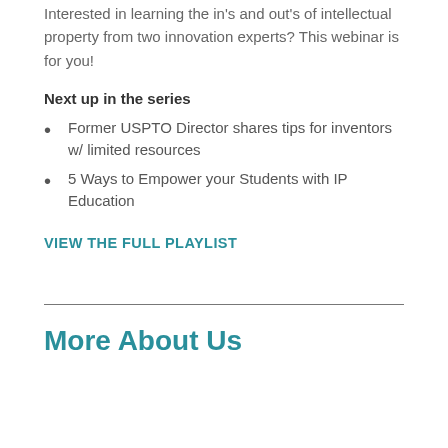Interested in learning the in's and out's of intellectual property from two innovation experts? This webinar is for you!
Next up in the series
Former USPTO Director shares tips for inventors w/ limited resources
5 Ways to Empower your Students with IP Education
VIEW THE FULL PLAYLIST
More About Us